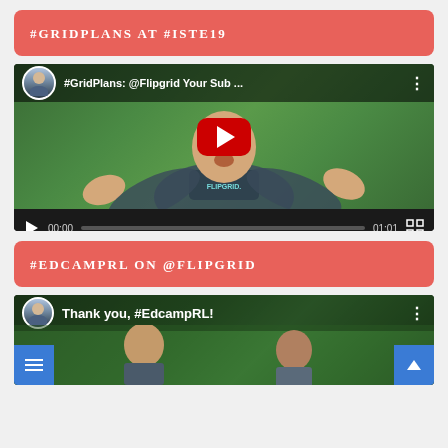#GRIDPLANS AT #ISTE19
[Figure (screenshot): YouTube video thumbnail showing a man in a Flipgrid shirt with hands raised, standing in front of green grass. Title: '#GridPlans: @Flipgrid Your Sub ...' with video controls showing 00:00 / 01:01]
#EDCAMPRL ON @FLIPGRID
[Figure (screenshot): YouTube video thumbnail showing two men outdoors in front of green trees. Title: 'Thank you, #EdcampRL!' with blue menu and scroll-up buttons overlaid at bottom corners]